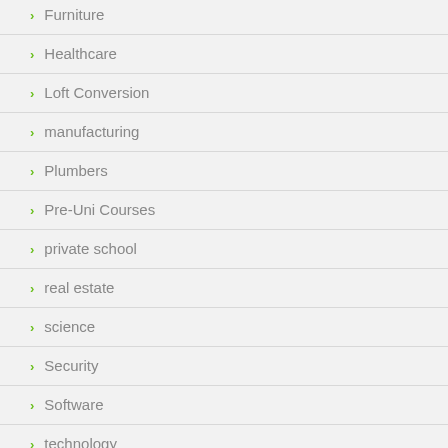Furniture
Healthcare
Loft Conversion
manufacturing
Plumbers
Pre-Uni Courses
private school
real estate
science
Security
Software
technology